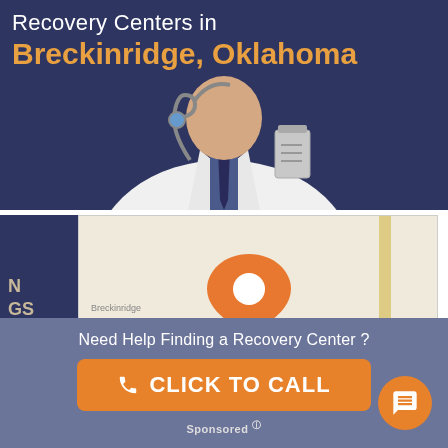Recovery Centers in Breckinridge, Oklahoma
[Figure (map): Map showing location pin for Four Winds Ranch Recovery Center in Breckinridge, Oklahoma with road markings]
Four Winds Ranch Recovery Center for Adolescent
Need Help Finding a Recovery Center ?
CLICK TO CALL
Sponsored